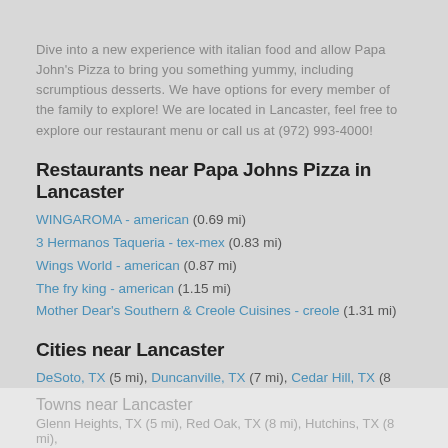Dive into a new experience with italian food and allow Papa John's Pizza to bring you something yummy, including scrumptious desserts. We have options for every member of the family to explore! We are located in Lancaster, feel free to explore our restaurant menu or call us at (972) 993-4000!
Restaurants near Papa Johns Pizza in Lancaster
WINGAROMA - american (0.69 mi)
3 Hermanos Taqueria - tex-mex (0.83 mi)
Wings World - american (0.87 mi)
The fry king - american (1.15 mi)
Mother Dear's Southern & Creole Cuisines - creole (1.31 mi)
Cities near Lancaster
DeSoto, TX (5 mi), Duncanville, TX (7 mi), Cedar Hill, TX (8 mi), Waxahachie, TX (9 mi), Dallas, TX (12 mi), Mesquite, TX (14 mi), Grand Prairie, TX (16 mi), Mansfield, TX (21 mi), Irving, TX (22 mi)
Towns near Lancaster
Glenn Heights, TX (5 mi), Red Oak, TX (8 mi), Hutchins, TX (8 mi),